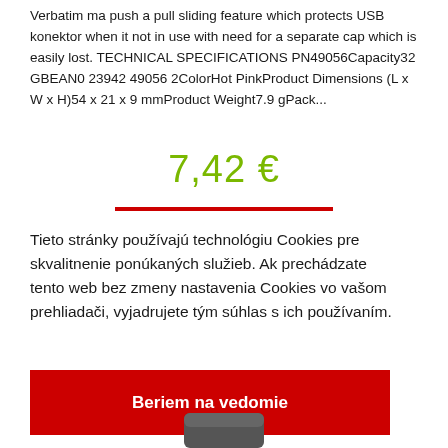Verbatim ma push a pull sliding feature which protects USB konektor when it not in use with need for a separate cap which is easily lost. TECHNICAL SPECIFICATIONS PN49056Capacity32 GBEAN0 23942 49056 2ColorHot PinkProduct Dimensions (L x W x H)54 x 21 x 9 mmProduct Weight7.9 gPack...
7,42 €
Tieto stránky používajú technológiu Cookies pre skvalitnenie ponúkaných služieb. Ak prechádzate tento web bez zmeny nastavenia Cookies vo vašom prehliadači, vyjadrujete tým súhlas s ich používaním.
Beriem na vedomie
[Figure (photo): Partial view of a dark-colored product (USB flash drive) at the bottom of the page]